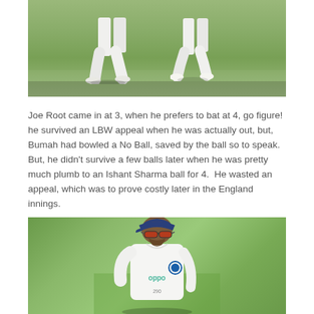[Figure (photo): Cricket players in white uniforms running/walking on a green grass field, bottom portion of their bodies visible]
Joe Root came in at 3, when he prefers to bat at 4, go figure!  he survived an LBW appeal when he was actually out, but, Bumah had bowled a No Ball, saved by the ball so to speak.  But, he didn't survive a few balls later when he was pretty much plumb to an Ishant Sharma ball for 4.  He wasted an appeal, which was to prove costly later in the England innings.
[Figure (photo): Indian cricket player wearing white jersey with OPPO sponsor logo, BCCI emblem, blue cap, and red-tinted sunglasses, standing on green grass field]